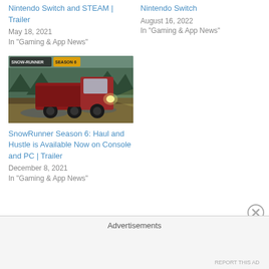Nintendo Switch and STEAM | Trailer
May 18, 2021
In "Gaming & App News"
Nintendo Switch
August 16, 2022
In "Gaming & App News"
[Figure (screenshot): SnowRunner game screenshot showing a red truck with headlights on in a forest/muddy environment. Game logo visible in top-left corner.]
SnowRunner Season 6: Haul and Hustle is Available Now on Console and PC | Trailer
December 8, 2021
In "Gaming & App News"
Advertisements
REPORT THIS AD